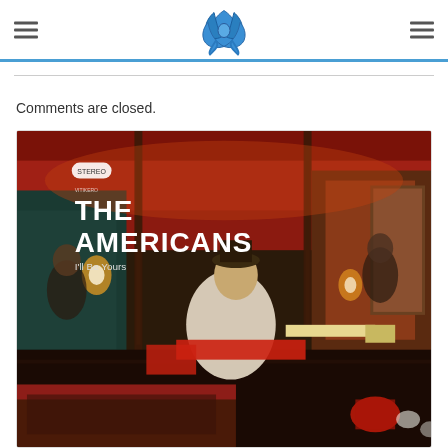[Logo: blue rose icon] [hamburger menu icons left and right]
Comments are closed.
[Figure (photo): Album cover for 'The Americans - I'll Be Yours'. Shows a person playing guitar in a dimly lit room with red ambient lighting, ornate ceiling and columns. Text on image reads 'THE AMERICANS' and 'I'll Be Yours'.]